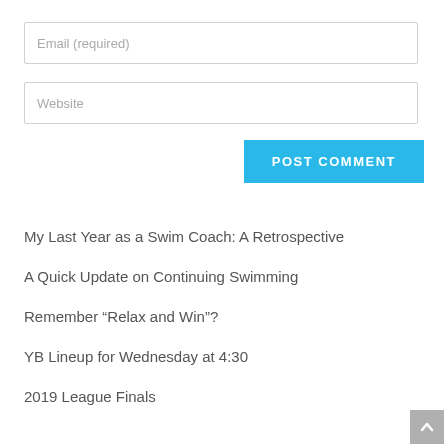Email (required)
Website
POST COMMENT
My Last Year as a Swim Coach: A Retrospective
A Quick Update on Continuing Swimming
Remember “Relax and Win”?
YB Lineup for Wednesday at 4:30
2019 League Finals